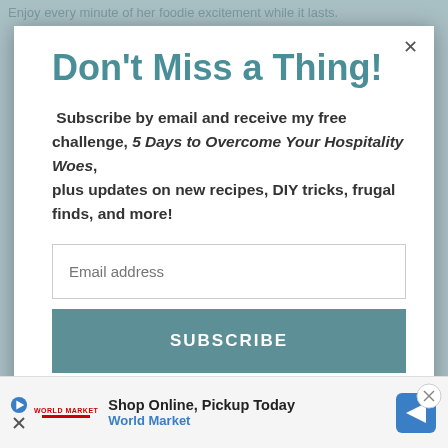Enjoy every minute of her foodie excitement while it lasts.
Don't Miss a Thing!
Subscribe by email and receive my free challenge, 5 Days to Overcome Your Hospitality Woes, plus updates on new recipes, DIY tricks, frugal finds, and more!
Email address
SUBSCRIBE
Shop Online, Pickup Today World Market